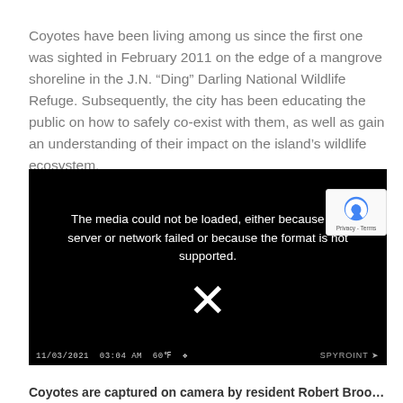Coyotes have been living among us since the first one was sighted in February 2011 on the edge of a mangrove shoreline in the J.N. “Ding” Darling National Wildlife Refuge. Subsequently, the city has been educating the public on how to safely co-exist with them, as well as gain an understanding of their impact on the island’s wildlife ecosystem.
[Figure (screenshot): Black video player frame showing a media error message: 'The media could not be loaded, either because the server or network failed or because the format is not supported.' with an X symbol. Timestamp '11/03/2021 03:04 AM 60°' and 'SPYPOINT' branding visible at bottom. A faint silhouette of a coyote visible in the lower portion of the frame.]
Coyotes are captured on camera by resident Robert Brooks as...